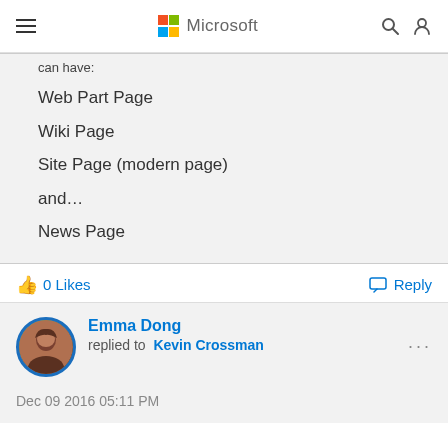Microsoft
can have:
Web Part Page
Wiki Page
Site Page (modern page)
and...
News Page
0 Likes
Reply
Emma Dong replied to Kevin Crossman
Dec 09 2016 05:11 PM